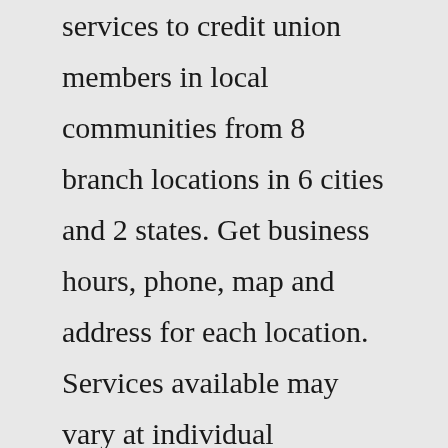services to credit union members in local communities from 8 branch locations in 6 cities and 2 states. Get business hours, phone, map and address for each location. Services available may vary at individual locations. Contact a credit union branch to verify they offer the services you need.Directions: To sign in to mobile banking, use your Connexus Credit Union online banking login information. If you are